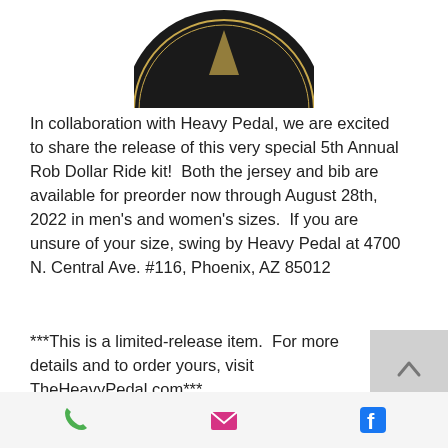[Figure (logo): Partial brewery logo badge, dark circular emblem with text 'BREWERY' visible at bottom arc, bottom half of circular logo shown]
In collaboration with Heavy Pedal, we are excited to share the release of this very special 5th Annual Rob Dollar Ride kit!  Both the jersey and bib are available for preorder now through August 28th, 2022 in men's and women's sizes.  If you are unsure of your size, swing by Heavy Pedal at 4700 N. Central Ave. #116, Phoenix, AZ 85012
***This is a limited-release item.  For more details and to order yours, visit TheHeavyPedal.com***
[Figure (other): Gray scroll-to-top button with upward chevron arrow icon]
[Figure (other): Bottom navigation bar with phone icon (green), email/envelope icon (pink/magenta), and Facebook icon (blue)]